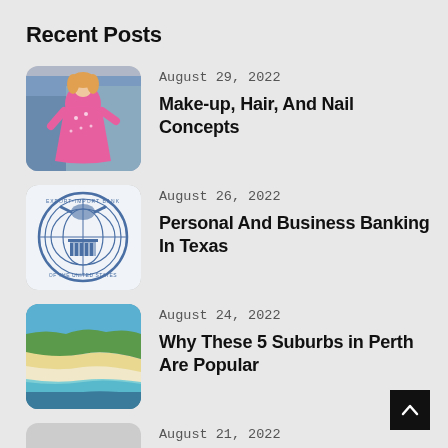Recent Posts
[Figure (photo): Woman in bright pink ball gown dress]
August 29, 2022
Make-up, Hair, And Nail Concepts
[Figure (logo): Export-Import Bank of the United States circular seal/logo]
August 26, 2022
Personal And Business Banking In Texas
[Figure (photo): Aerial view of a beach coastline with white sand and blue water]
August 24, 2022
Why These 5 Suburbs in Perth Are Popular
[Figure (screenshot): Local forecast weather TV screen, variable cloudiness]
August 21, 2022